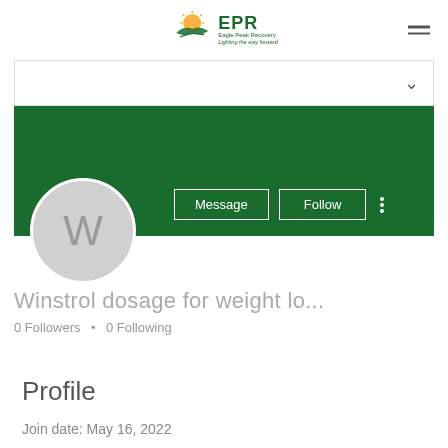[Figure (logo): EPR logo with sun and bird graphic, green text 'EPR' and tagline 'Lighting the way forward']
[Figure (screenshot): User profile page on EPR website showing green header banner, circular avatar with letter W, Message and Follow buttons, username 'Winstrol dosage for weight lo...', 0 Followers, 0 Following, Profile section with Join date: May 16, 2022]